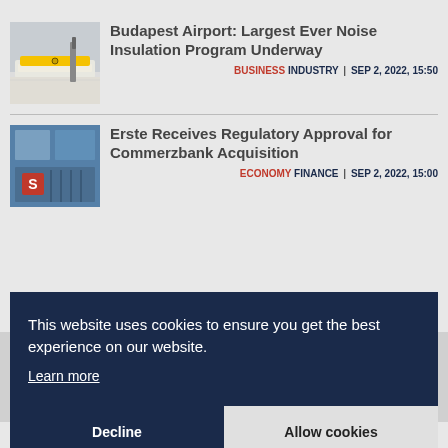[Figure (photo): Photo of construction/insulation tools on white surface with yellow level tool]
Budapest Airport: Largest Ever Noise Insulation Program Underway
BUSINESS INDUSTRY | SEP 2, 2022, 15:50
[Figure (photo): Photo of Erste bank building facade with logo]
Erste Receives Regulatory Approval for Commerzbank Acquisition
ECONOMY FINANCE | SEP 2, 2022, 15:00
This website uses cookies to ensure you get the best experience on our website. Learn more
Decline
Allow cookies
Painting by Georgia O'Keeffe and the Impact of Tech-driven NFTs